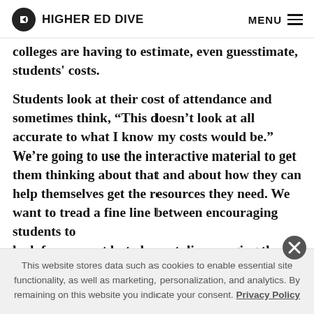HIGHER ED DIVE  MENU
colleges are having to estimate, even guesstimate, students' costs.
Students look at their cost of attendance and sometimes think, “This doesn’t look at all accurate to what I know my costs would be.” We’re going to use the interactive material to get them thinking about that and about how they can help themselves get the resources they need. We want to tread a fine line between encouraging students to look for support but also not discouraging them from
This website stores data such as cookies to enable essential site functionality, as well as marketing, personalization, and analytics. By remaining on this website you indicate your consent. Privacy Policy